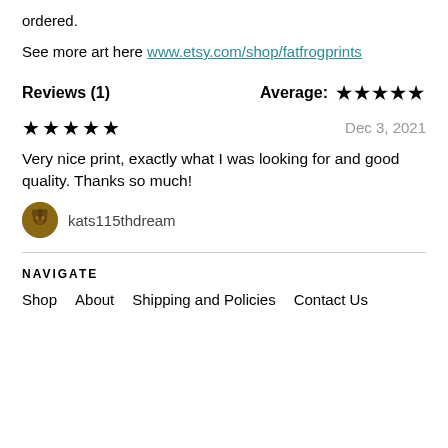ordered.
See more art here www.etsy.com/shop/fatfrogprints
Reviews (1)
Average: ★★★★★
★★★★★   Dec 3, 2021
Very nice print, exactly what I was looking for and good quality. Thanks so much!
kats115thdream
NAVIGATE
Shop
About
Shipping and Policies
Contact Us